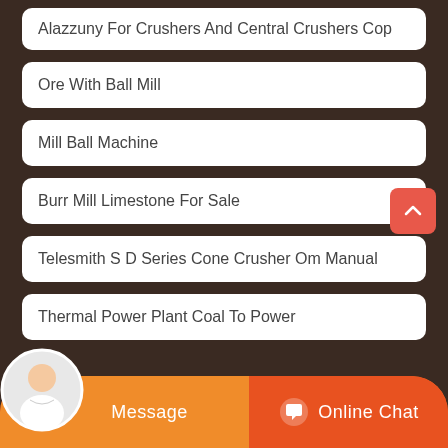Alazzuny For Crushers And Central Crushers Cop
Ore With Ball Mill
Mill Ball Machine
Burr Mill Limestone For Sale
Telesmith S D Series Cone Crusher Om Manual
Thermal Power Plant Coal To Power
Message
Online Chat